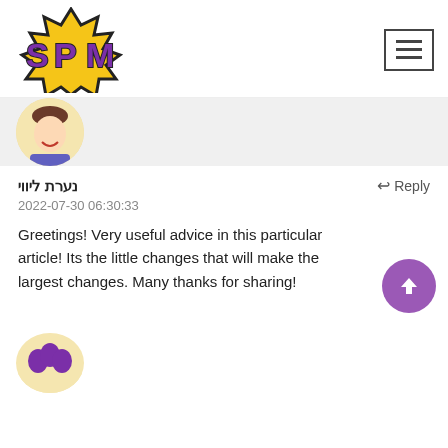[Figure (logo): SPM logo: yellow spiky badge shape with bold purple 3D letters SPM and dark outline]
[Figure (illustration): Hamburger menu icon: square border with three horizontal lines]
[Figure (illustration): Top portion of a cartoon avatar with light skin, dark hair, wearing a blue top, on a yellow/beige circular background — partially cropped at top]
נערת ליווי
Reply
2022-07-30 06:30:33
Greetings! Very useful advice in this particular article! Its the little changes that will make the largest changes. Many thanks for sharing!
[Figure (illustration): Purple circle with white upward arrow — scroll-to-top button]
[Figure (illustration): Bottom portion of another cartoon avatar with curly purple hair, partially cropped, on a light yellow circular background]